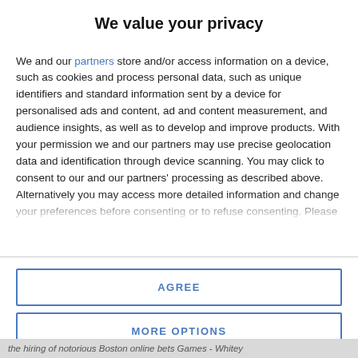We value your privacy
We and our partners store and/or access information on a device, such as cookies and process personal data, such as unique identifiers and standard information sent by a device for personalised ads and content, ad and content measurement, and audience insights, as well as to develop and improve products. With your permission we and our partners may use precise geolocation data and identification through device scanning. You may click to consent to our and our partners' processing as described above. Alternatively you may access more detailed information and change your preferences before consenting or to refuse consenting. Please note that some processing of your personal data may not require your consent, but you have a right to
AGREE
MORE OPTIONS
the hiring of notorious Boston online bets Games - Whitey